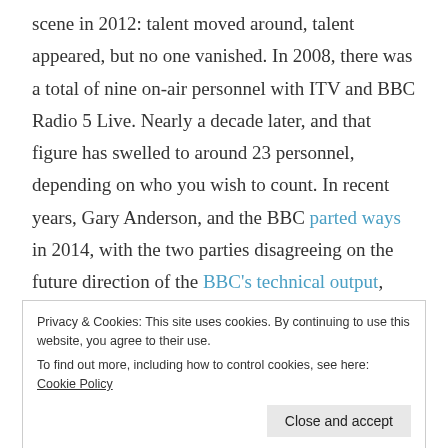scene in 2012: talent moved around, talent appeared, but no one vanished. In 2008, there was a total of nine on-air personnel with ITV and BBC Radio 5 Live. Nearly a decade later, and that figure has swelled to around 23 personnel, depending on who you wish to count. In recent years, Gary Anderson, and the BBC parted ways in 2014, with the two parties disagreeing on the future direction of the BBC's technical output, whilst Georgie Thompson and Sky separated at the start of 2013.
Privacy & Cookies: This site uses cookies. By continuing to use this website, you agree to their use. To find out more, including how to control cookies, see here: Cookie Policy Close and accept